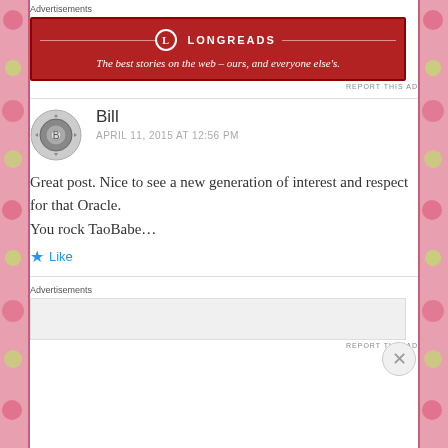Advertisements
[Figure (infographic): Longreads advertisement banner — red background with logo and tagline: The best stories on the web — ours, and everyone else's.]
REPORT THIS AD
Bill
APRIL 11, 2015 AT 12:56 PM
Great post. Nice to see a new generation of interest and respect for that Oracle.
You rock TaoBabe…
Like
Advertisements
REPORT THIS AD